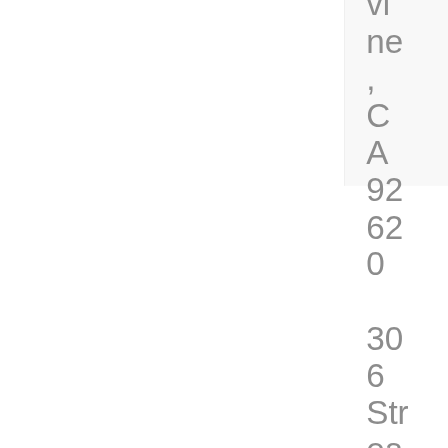vine, CA 92620 306 Streamwood Irvine, CA 92620